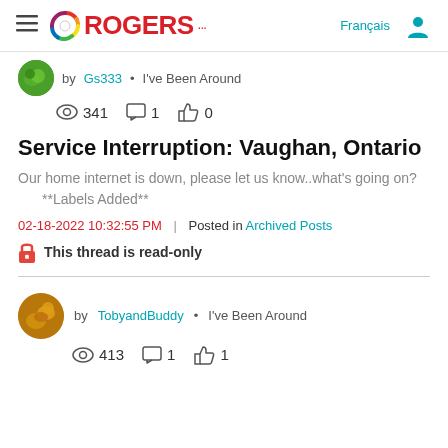ROGERS... | Français
by Gs333 • I've Been Around
341 views | 1 comment | 0 likes
Service Interruption: Vaughan, Ontario
Our home internet is down, please let us know..what's going on?
    **Labels Added**
02-18-2022 10:32:55 PM | Posted in Archived Posts
This thread is read-only
by TobyandBuddy • I've Been Around
413 views | 1 comment | 1 like